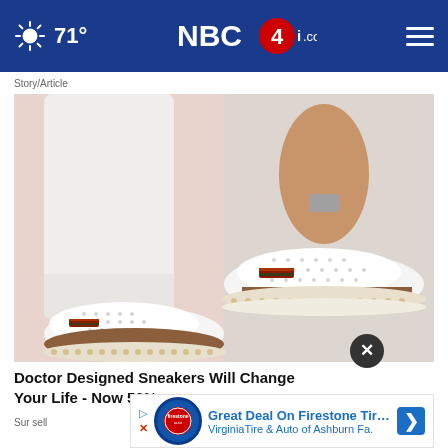71° NBC4i.com
Story/Article
[Figure (photo): Photo of white slip-on sneakers with perforated upper, tan/caramel espadrille-style sole with white studded trim, and multicolor stripe accent on the side. Person wearing white jeans is shown from the mid-calf down, standing against a light pink background.]
✕
Doctor Designed Sneakers Will Change Your Life - Now 50% o…
Sur sell
Great Deal On Firestone Tires
VirginiaTire & Auto of Ashburn Fa.